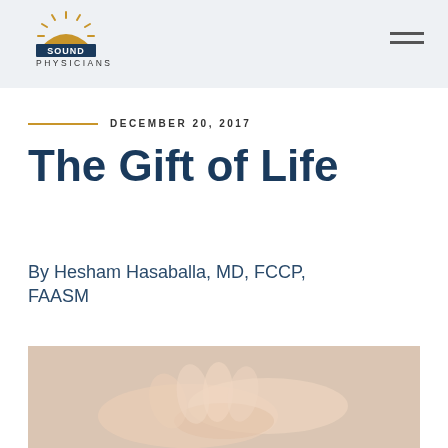Sound Physicians
DECEMBER 20, 2017
The Gift of Life
By Hesham Hasaballa, MD, FCCP, FAASM
[Figure (photo): Hands clasped together, close-up photo]